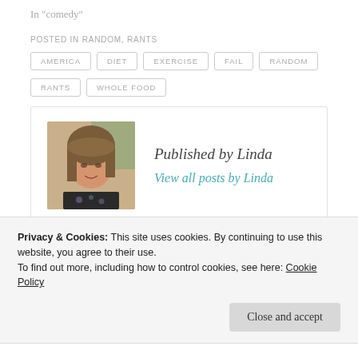In "comedy"
POSTED IN RANDOM, RANTS
AMERICA
DIET
EXERCISE
FAIL
RANDOM
RANTS
WHOLE FOOD
Published by Linda
View all posts by Linda
Privacy & Cookies: This site uses cookies. By continuing to use this website, you agree to their use.
To find out more, including how to control cookies, see here: Cookie Policy
Close and accept